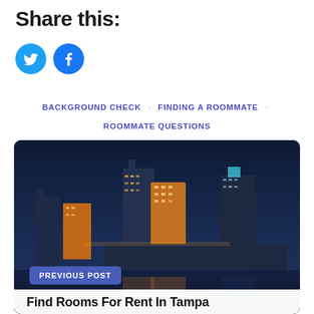Share this:
[Figure (other): Twitter and Facebook social sharing icon buttons (blue circles with bird and f icons)]
BACKGROUND CHECK · FINDING A ROOMMATE · ROOMMATE QUESTIONS
[Figure (photo): Night cityscape of Tampa, Florida showing illuminated skyscrapers reflected in the water, with a purple-lit bridge and convention center visible]
PREVIOUS POST
Find Rooms For Rent In Tampa